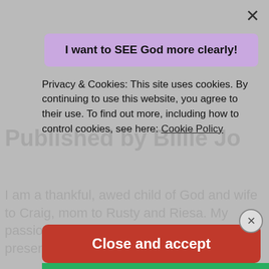Published by Billie Jo
I am a thankful, awed child of God and wife to Craig, mom to Rusty and Riesa. My passion is helping others enjoy the presence of God. View
Privacy & Cookies: This site uses cookies. By continuing to use this website, you agree to their use. To find out more, including how to control cookies, see here: Cookie Policy
Close and accept